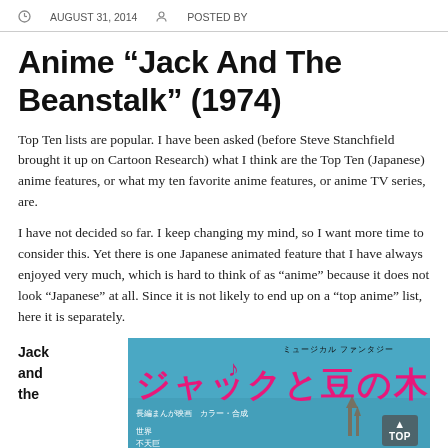AUGUST 31, 2014   POSTED BY
Anime “Jack And The Beanstalk” (1974)
Top Ten lists are popular. I have been asked (before Steve Stanchfield brought it up on Cartoon Research) what I think are the Top Ten (Japanese) anime features, or what my ten favorite anime features, or anime TV series, are.
I have not decided so far. I keep changing my mind, so I want more time to consider this. Yet there is one Japanese animated feature that I have always enjoyed very much, which is hard to think of as “anime” because it does not look “Japanese” at all. Since it is not likely to end up on a “top anime” list, here it is separately.
Jack and the
[Figure (photo): Japanese movie poster for Jack and the Beanstalk anime (1974), blue background with pink Japanese text ジャックと豆の木 and musical fantasy subtitle]